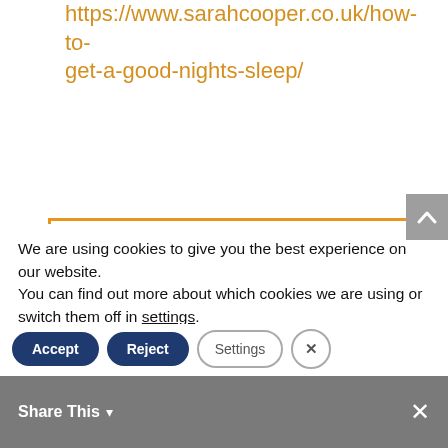https://www.sarahcooper.co.uk/how-to-get-a-good-nights-sleep/
Resources:
https://www.sarahcooper.co.uk/how-can-i-feel-better-during-perimenopause/
https://uk.nyrorganic.com/shop/sjcooper/area/shop-online/category/shop-by-
We are using cookies to give you the best experience on our website.
You can find out more about which cookies we are using or switch them off in settings.
Share This